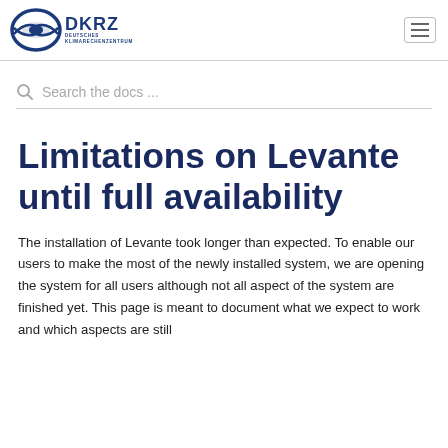[Figure (logo): DKRZ Deutsches Klimarechenzentrum logo with blue circular emblem and text]
Search the docs ...
Limitations on Levante until full availability
The installation of Levante took longer than expected. To enable our users to make the most of the newly installed system, we are opening the system for all users although not all aspect of the system are finished yet. This page is meant to document what we expect to work and which aspects are still